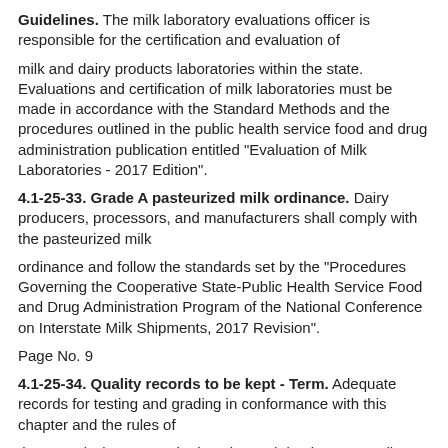Guidelines. The milk laboratory evaluations officer is responsible for the certification and evaluation of
milk and dairy products laboratories within the state. Evaluations and certification of milk laboratories must be made in accordance with the Standard Methods and the procedures outlined in the public health service food and drug administration publication entitled "Evaluation of Milk Laboratories - 2017 Edition".
4.1-25-33. Grade A pasteurized milk ordinance. Dairy producers, processors, and manufacturers shall comply with the pasteurized milk
ordinance and follow the standards set by the "Procedures Governing the Cooperative State-Public Health Service Food and Drug Administration Program of the National Conference on Interstate Milk Shipments, 2017 Revision".
Page No. 9
4.1-25-34. Quality records to be kept - Term. Adequate records for testing and grading in conformance with this chapter and the rules of
the commissioner must be kept by each business sampling